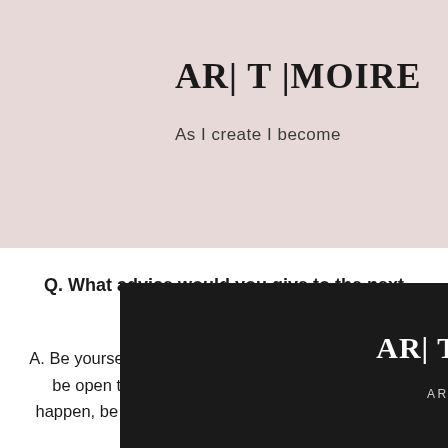AR| T |MOIRE — As I create I become
as
o the
s clear
o take
Q. What advice would you give to the next generation?
A. Be yourself and go your own way, set the bar high, be open to criticism, don't wait for something to happen, be proactive, and make sure you are seen.
AR| T |MOIRE
ARI T IMOIRE